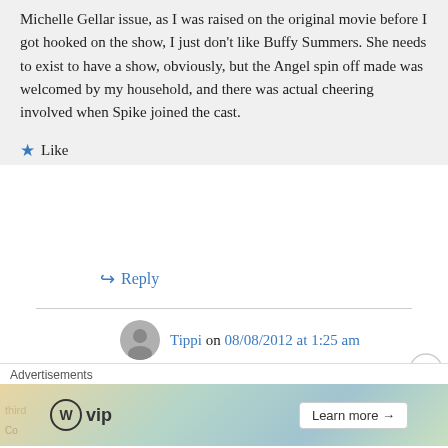Michelle Gellar issue, as I was raised on the original movie before I got hooked on the show, I just don't like Buffy Summers. She needs to exist to have a show, obviously, but the Angel spin off made was welcomed by my household, and there was actual cheering involved when Spike joined the cast.
Like
Reply
Tippi on 08/08/2012 at 1:25 am
[Figure (other): Advertisements banner with WordPress VIP logo and Learn more button]